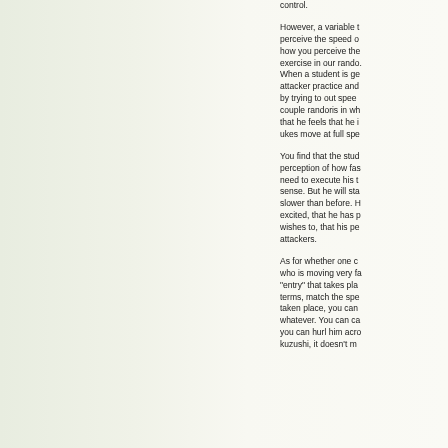control.
However, a variable to perceive the speed of how you perceive the exercise in our rando. When a student is getting attacker practice and by trying to out speed couple randoris in which that he feels that he is ukes move at full speed.
You find that the student's perception of how fast they need to execute his throws sense. But he will start slower than before. He is excited, that he has p wishes to, that his perception attackers.
As for whether one can who is moving very fast "entry" that takes place in terms, match the speed has taken place, you can whatever. You can ca you can hurl him across kuzushi, it doesn't matter.